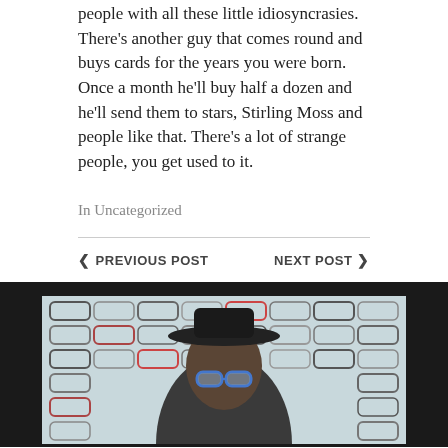people with all these little idiosyncrasies. There’s another guy that comes round and buys cards for the years you were born. Once a month he’ll buy half a dozen and he’ll send them to stars, Stirling Moss and people like that. There’s a lot of strange people, you get used to it.
In Uncategorized
‹ PREVIOUS POST    NEXT POST ›
[Figure (photo): A person wearing a dark fedora hat and blue-framed glasses, standing in front of a wall display of eyeglasses frames.]